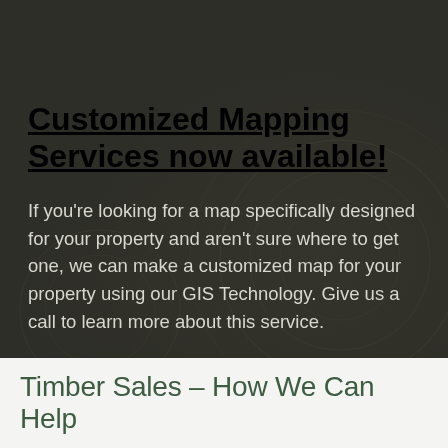Customized Mapping Services now available!
If you're looking for a map specifically designed for your property and aren't sure where to get one, we can make a customized map for your property using our GIS Technology. Give us a call to learn more about this service.
Timber Sales – How We Can Help